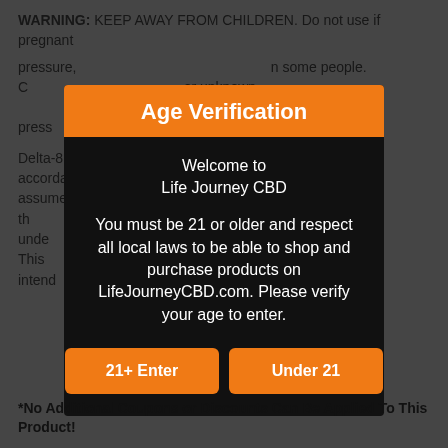WARNING: KEEP AWAY FROM CHILDREN. Do not use if pregnant ... pressure, ... some people. C... or unknown ... pressure, eye press...
Delta-8 TH... in accordance ... assumes ... product is legal in the ... duct if you unde... drug test. This ... DA and is not intend... any disease o...
[Figure (other): Age Verification modal dialog with orange header reading 'Age Verification', black background body with white text 'Welcome to Life Journey CBD', message about being 21 or older, and two orange buttons: '21+ Enter' and 'Under 21']
*No Additional Coupons or Discounts Can Be Applied To This Product!